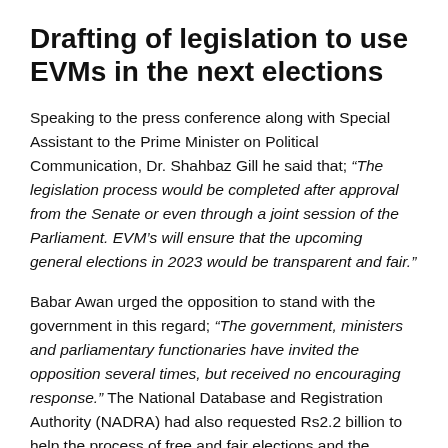Drafting of legislation to use EVMs in the next elections
Speaking to the press conference along with Special Assistant to the Prime Minister on Political Communication, Dr. Shahbaz Gill he said that; “The legislation process would be completed after approval from the Senate or even through a joint session of the Parliament. EVM’s will ensure that the upcoming general elections in 2023 would be transparent and fair.”
Babar Awan urged the opposition to stand with the government in this regard; “The government, ministers and parliamentary functionaries have invited the opposition several times, but received no encouraging response.” The National Database and Registration Authority (NADRA) had also requested Rs2.2 billion to help the process of free and fair elections and the